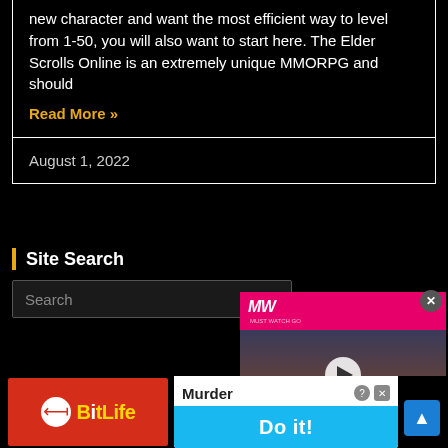new character and want the most efficient way to level from 1-50, you will also want to start here. The Elder Scrolls Online is an extremely unique MMORPG and should
Read More »
August 1, 2022
Site Search
Search
[Figure (screenshot): MW video ad overlay showing SCORN RELEASE DATE with play button and creature image]
[Figure (screenshot): BitLife red banner ad with logo]
[Figure (screenshot): Murder Do it! advertisement with cyan button]
[Figure (screenshot): Blue scroll-to-top button]